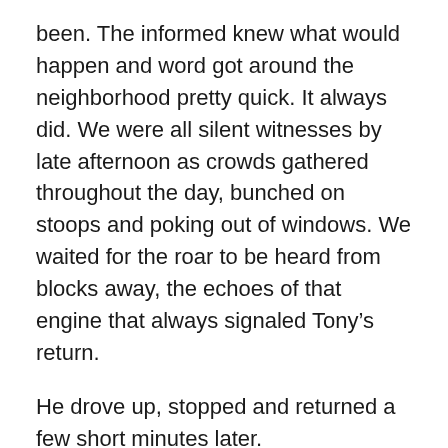been. The informed knew what would happen and word got around the neighborhood pretty quick. It always did. We were all silent witnesses by late afternoon as crowds gathered throughout the day, bunched on stoops and poking out of windows. We waited for the roar to be heard from blocks away, the echoes of that engine that always signaled Tony’s return.
He drove up, stopped and returned a few short minutes later.
He parked his car right in the middle of the street, doors swung open and men piled out in wool knit shirts and shiny black shoes. Out of the trunk came bats, crowbars and sledge hammers and they proceeded to pummel that Pontiac into a shattered steel and glass corpse, as Tony sat waiting in his black bucket seat.